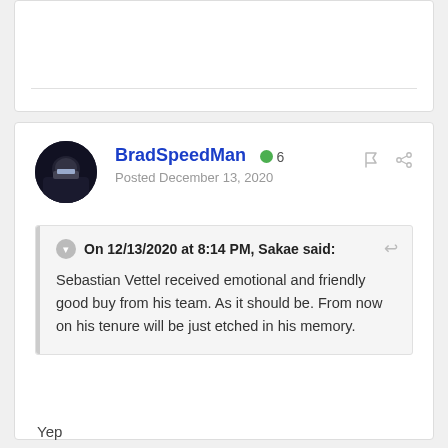BradSpeedMan  6
Posted December 13, 2020
On 12/13/2020 at 8:14 PM, Sakae said:
Sebastian Vettel received emotional and friendly good buy from his team. As it should be. From now on his tenure will be just etched in his memory.
Yep